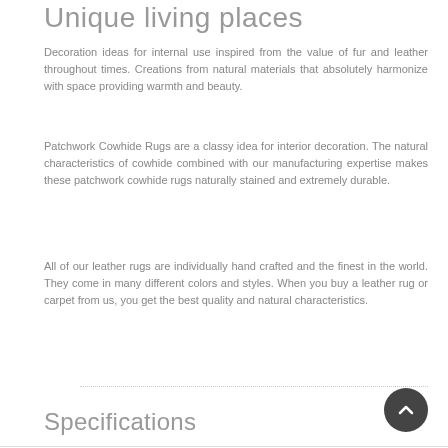Unique living places
Decoration ideas for internal use inspired from the value of fur and leather throughout times. Creations from natural materials that absolutely harmonize with space providing warmth and beauty.
Patchwork Cowhide Rugs are a classy idea for interior decoration. The natural characteristics of cowhide combined with our manufacturing expertise makes these patchwork cowhide rugs naturally stained and extremely durable.
All of our leather rugs are individually hand crafted and the finest in the world. They come in many different colors and styles. When you buy a leather rug or carpet from us, you get the best quality and natural characteristics.
Specifications